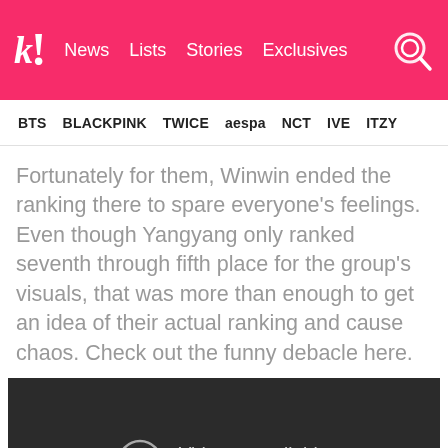Koreaboo — News | Lists | Stories | Exclusives
BTS | BLACKPINK | TWICE | aespa | NCT | IVE | ITZY
Fortunately for them, Winwin ended the ranking there to spare everyone's feelings. Even though Yangyang only ranked seventh through fifth place for the group's visuals, that was more than enough to get an idea of their actual ranking and cause chaos. Check out the funny debacle here.
[Figure (screenshot): Embedded YouTube video showing 'Video unavailable — This video is unavailable' error message on dark background]